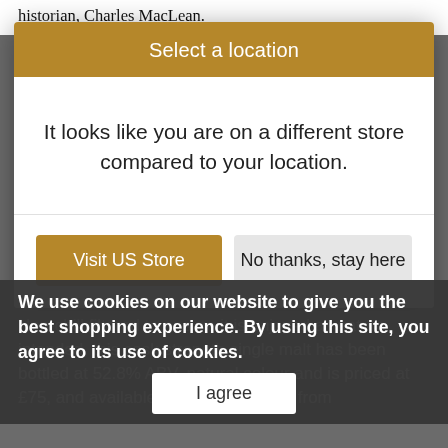historian, Charles MacLean.
Select a location
It looks like you are on a different store compared to your location.
Visit US Store
No thanks, stay here
We use cookies on our website to give you the best shopping experience. By using this site, you agree to its use of cookies.
Non-chill filtered to ensure it is enjoyed as nature intended, this cask strength single malt has been bottled at 52.8% ABV, natural colour and is priced at £75, and available to buy online now from specialist whisky retailers and from Clasc...
I agree